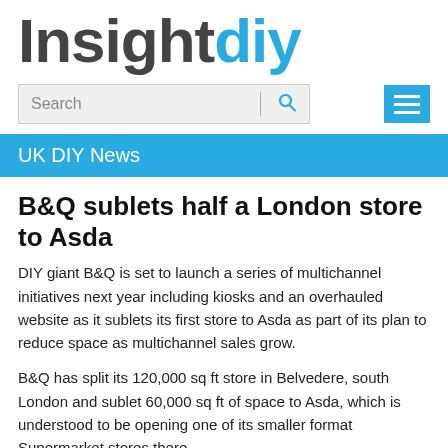[Figure (logo): InsightDIY logo — 'Insight' in dark grey bold, 'diy' in blue bold]
[Figure (screenshot): Search bar with placeholder text 'Search', a vertical divider, a blue magnifying glass icon, and a blue hamburger menu icon to the right]
UK DIY News
B&Q sublets half a London store to Asda
DIY giant B&Q is set to launch a series of multichannel initiatives next year including kiosks and an overhauled website as it sublets its first store to Asda as part of its plan to reduce space as multichannel sales grow.
B&Q has split its 120,000 sq ft store in Belvedere, south London and sublet 60,000 sq ft of space to Asda, which is understood to be opening one of its smaller format Supermarket stores there.